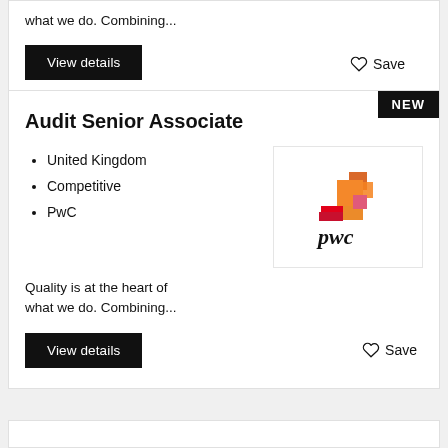what we do. Combining...
View details
Save
Audit Senior Associate
United Kingdom
Competitive
PwC
[Figure (logo): PwC logo with orange/red stacked blocks above 'pwc' text]
Quality is at the heart of what we do. Combining...
View details
Save